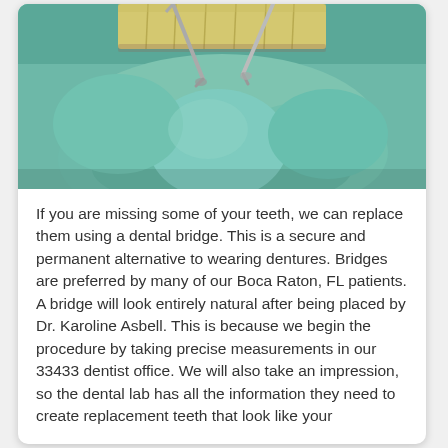[Figure (photo): Close-up dental photograph showing teeth being worked on with dental tools, teal/green dental dam visible, yellow teeth and silver dental instruments]
If you are missing some of your teeth, we can replace them using a dental bridge. This is a secure and permanent alternative to wearing dentures. Bridges are preferred by many of our Boca Raton, FL patients. A bridge will look entirely natural after being placed by Dr. Karoline Asbell. This is because we begin the procedure by taking precise measurements in our 33433 dentist office. We will also take an impression, so the dental lab has all the information they need to create replacement teeth that look like your